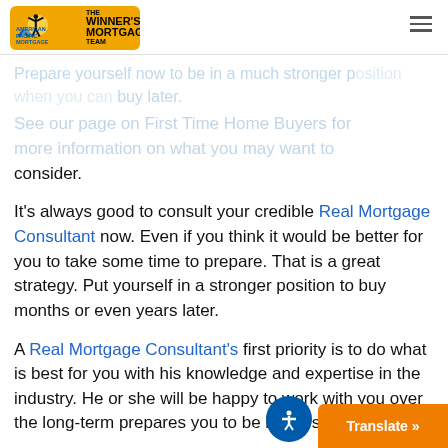[Figure (logo): The Winner's Mortgage Team / American Pacific Mortgage logo — orange square with silhouette of person with arms raised, blue chevron shapes, and text.]
Prepare yourself now to be in a much stronger position when you can buy later. See our page on First Time Home Buyers for more information on what you may want to consider.
It's always good to consult your credible Real Mortgage Consultant now. Even if you think it would be better for you to take some time to prepare. That is a great strategy. Put yourself in a stronger position to buy months or even years later.
A Real Mortgage Consultant's first priority is to do what is best for you with his knowledge and expertise in the industry. He or she will be happy to work with you over the long-term prepares you to be in the strongest